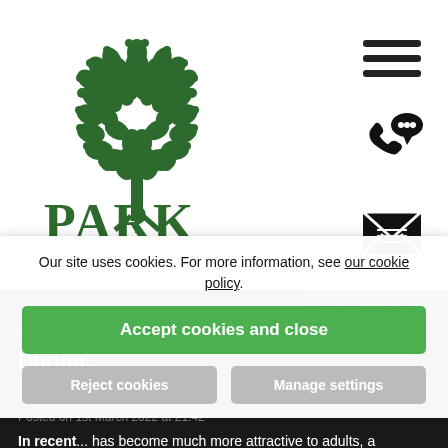[Figure (logo): Park Dental Care logo with green tree made of leaves above text PARK DENTAL CARE]
[Figure (infographic): Navigation icons: hamburger menu, phone with chat bubble, envelope/mail icon]
BACK TO BLOG
The Growing Popularity of Invisalign During...
Posted on 1st March 2022 at 21:42
In recent... has become much more attractive to adults, a demographic who
Our site uses cookies. For more information, see our cookie policy.
Accept cookies and close
Reject cookies
Manage settings